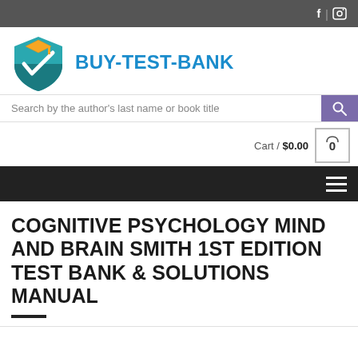BUY-TEST-BANK — social: Facebook, Instagram
[Figure (logo): Buy-Test-Bank logo: teal checkmark shield with graduation cap icon]
BUY-TEST-BANK
Search by the author's last name or book title
Cart / $0.00  0
COGNITIVE PSYCHOLOGY MIND AND BRAIN SMITH 1ST EDITION TEST BANK & SOLUTIONS MANUAL